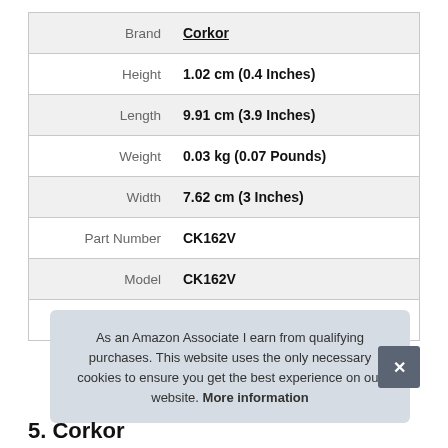|  |  |
| --- | --- |
| Brand | Corkor |
| Height | 1.02 cm (0.4 Inches) |
| Length | 9.91 cm (3.9 Inches) |
| Weight | 0.03 kg (0.07 Pounds) |
| Width | 7.62 cm (3 Inches) |
| Part Number | CK162V |
| Model | CK162V |
| Warranty | 2 Years Warranty |
As an Amazon Associate I earn from qualifying purchases. This website uses the only necessary cookies to ensure you get the best experience on our website. More information
5. Corkor